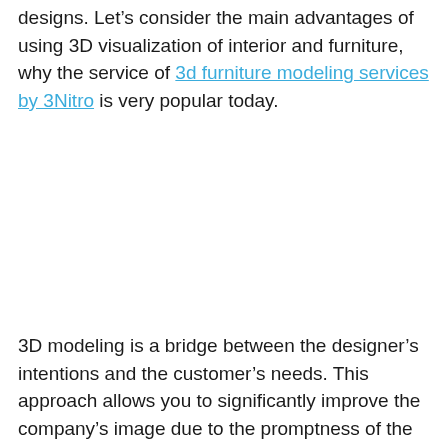designs. Let's consider the main advantages of using 3D visualization of interior and furniture, why the service of 3d furniture modeling services by 3Nitro is very popular today.
3D modeling is a bridge between the designer's intentions and the customer's needs. This approach allows you to significantly improve the company's image due to the promptness of the approval. You can talk about the features and benefits of your